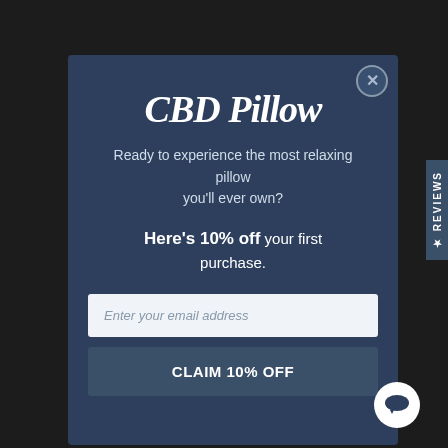CBD Pillow
Ready to experience the most relaxing pillow you'll ever own?
Here's 10% off your first purchase.
Enter your email address
CLAIM 10% OFF